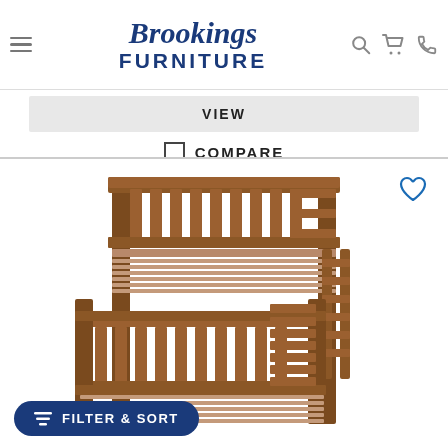Brookings Furniture – navigation header with hamburger menu, logo, search, cart, and phone icons
VIEW
COMPARE
[Figure (photo): Brown wooden bunk bed (twin over full) with slatted headboards and footboards, ladder on the right side, shown on white background. A heart/wishlist icon is in the top-right corner.]
FILTER & SORT